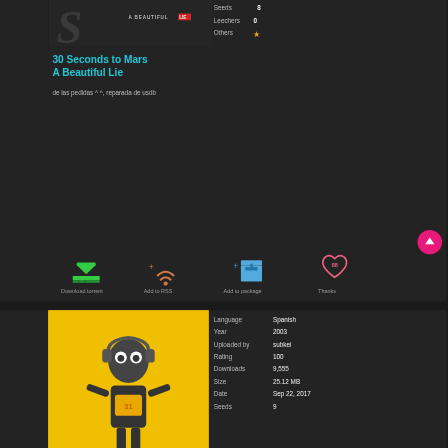[Figure (screenshot): Album art partial for '30 Seconds to Mars - A Beautiful Lie' with large stylized S letter and 'A BEAUTIFUL LIE' text label]
Seeds  8
Leechers  0
Others  ★
30 Seconds to Mars
A Beautiful Lie
de las pedidas ^ ^, reparada de usdb
[Figure (infographic): Action icons: Download torrent (green download arrow), Add to RSS (orange wifi/rss icon), Add to package (blue box with plus), Thanks (pink heart with 88)]
Download torrent   Add to RSS   Add to package   Thanks
[Figure (photo): Robot character with headphones on yellow background, 31 Minutos branding]
Language  Spanish
Year  2003
Uploaded by  subkei
Rating  100
Downloads  9,555
Size  25.12 MB
Date  Sep 22, 2017
Seeds  9